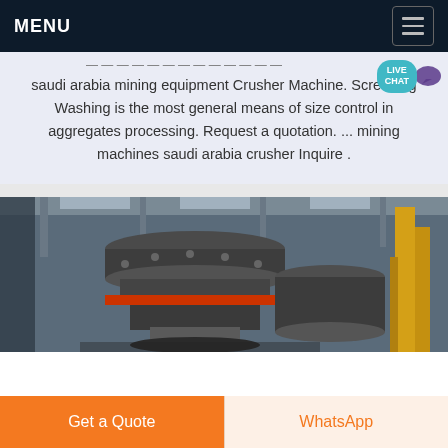MENU
saudi arabia mining equipment Crusher Machine. Screening Washing is the most general means of size control in aggregates processing. Request a quotation. ... mining machines saudi arabia crusher Inquire .
[Figure (photo): Industrial crusher machine in a factory setting, showing a large cylindrical cone crusher with orange accents, industrial beams and yellow structural columns in background]
Get a Quote
WhatsApp